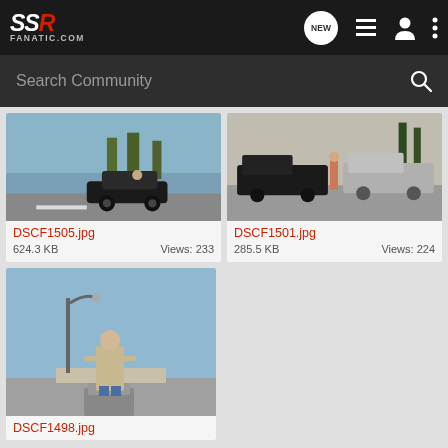[Figure (screenshot): SSR Fanatic.com website navigation bar with logo, NEW button, list icon, user icon, and more icon]
Search Community
[Figure (photo): Black convertible car driving on a road near water with trees in background]
DSCF1505.jpg
624.3 KB    Views: 233
[Figure (photo): Two pickup trucks parked in a parking lot with a person standing between them and trees in background]
DSCF1501.jpg
285.5 KB    Views: 224
[Figure (photo): Man standing on a concrete block on a road with a street lamp in the background]
DSCF1498.jpg